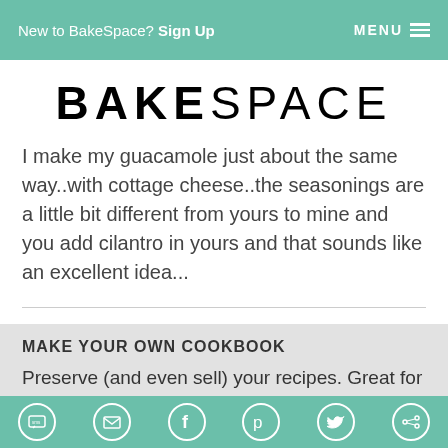New to BakeSpace? Sign Up   MENU
BAKESPACE
I make my guacamole just about the same way..with cottage cheese..the seasonings are a little bit different from yours to mine and you add cilantro in yours and that sounds like an excellent idea...
MAKE YOUR OWN COOKBOOK
Preserve (and even sell) your recipes. Great for groups, fundraising, book previews, bridal gifts &
SMS  Email  Facebook  Pinterest  Twitter  Other